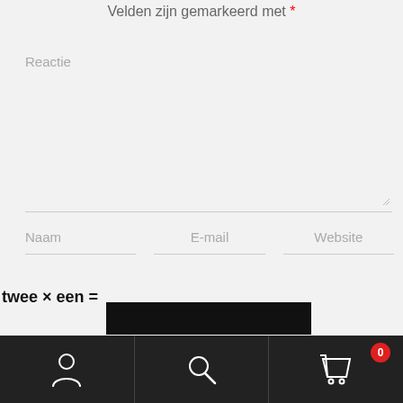Velden zijn gemarkeerd met *
Reactie
Naam
E-mail
Website
[Figure (screenshot): Mobile website bottom navigation bar with user icon, search icon, and shopping cart icon with badge showing 0]